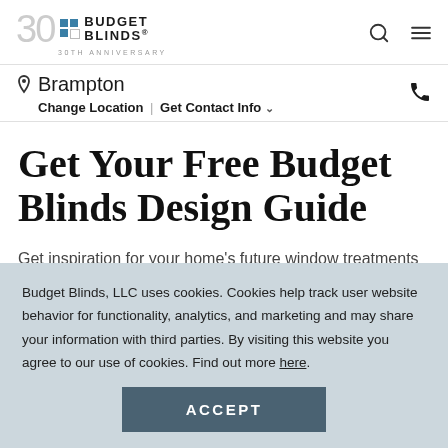Budget Blinds 30th Anniversary | Brampton | Change Location | Get Contact Info
Get Your Free Budget Blinds Design Guide
Get inspiration for your home's future window treatments
Budget Blinds, LLC uses cookies. Cookies help track user website behavior for functionality, analytics, and marketing and may share your information with third parties. By visiting this website you agree to our use of cookies. Find out more here.
ACCEPT